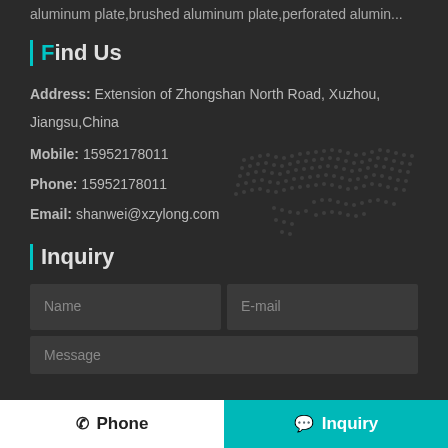aluminum plate,brushed aluminum plate,perforated alumin...
Find Us
Address: Extension of Zhongshan North Road, Xuzhou, Jiangsu,China
Mobile: 15952178011
Phone: 15952178011
Email: shanwei@xzylong.com
Inquiry
Name
E-mail
Message
Phone   Inquiry